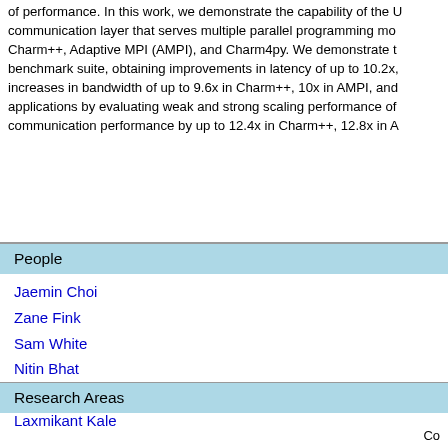of performance. In this work, we demonstrate the capability of the communication layer that serves multiple parallel programming models: Charm++, Adaptive MPI (AMPI), and Charm4py. We demonstrate the benchmark suite, obtaining improvements in latency of up to 10.2x, increases in bandwidth of up to 9.6x in Charm++, 10x in AMPI, and applications by evaluating weak and strong scaling performance of communication performance by up to 12.4x in Charm++, 12.8x in A
People
Jaemin Choi
Zane Fink
Sam White
Nitin Bhat
David Richards
Laxmikant Kale
Research Areas
Co